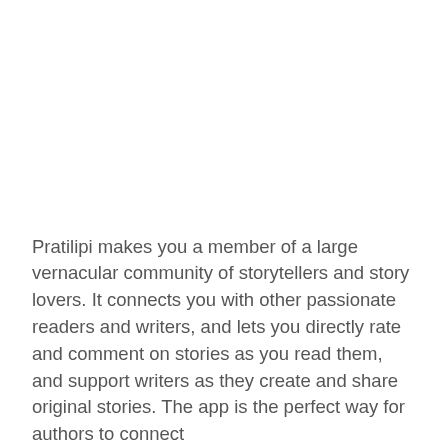Pratilipi makes you a member of a large vernacular community of storytellers and story lovers. It connects you with other passionate readers and writers, and lets you directly rate and comment on stories as you read them, and support writers as they create and share original stories. The app is the perfect way for authors to connect